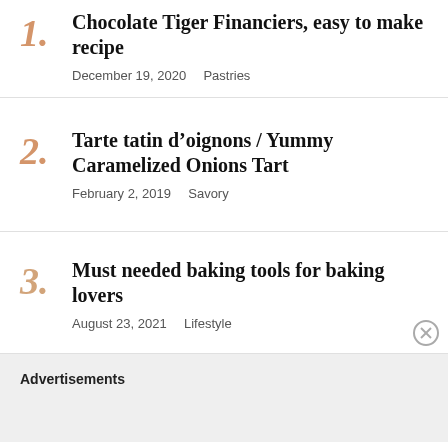1. Chocolate Tiger Financiers, easy to make recipe — December 19, 2020  Pastries
2. Tarte tatin d’oignons / Yummy Caramelized Onions Tart — February 2, 2019  Savory
3. Must needed baking tools for baking lovers — August 23, 2021  Lifestyle
Advertisements